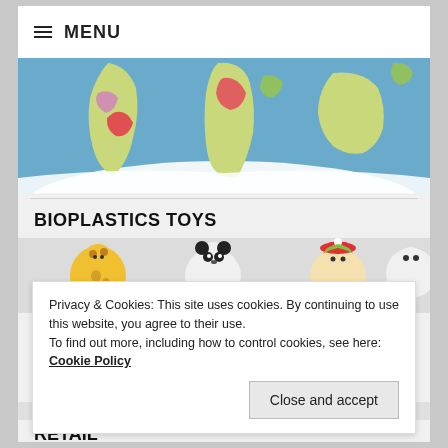≡ MENU
[Figure (map): World map showing continents including South America, Africa, and Australia on a blue ocean background]
BIOPLASTICS TOYS
[Figure (photo): Animal toy figures including a giraffe, panda, and other characters on a light background]
Privacy & Cookies: This site uses cookies. By continuing to use this website, you agree to their use.
To find out more, including how to control cookies, see here: Cookie Policy
Close and accept
RETAIL